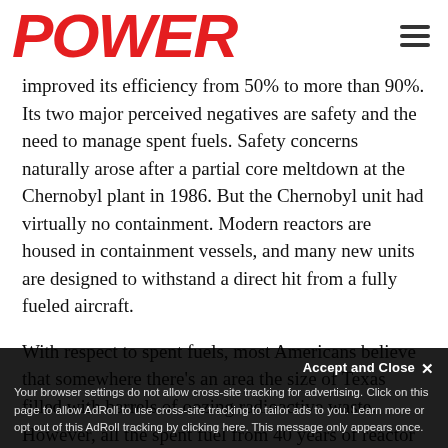POWER
improved its efficiency from 50% to more than 90%. Its two major perceived negatives are safety and the need to manage spent fuels. Safety concerns naturally arose after a partial core meltdown at the Chernobyl plant in 1986. But the Chernobyl unit had virtually no containment. Modern reactors are housed in containment vessels, and many new units are designed to withstand a direct hit from a fully fueled aircraft.
With respect to spent fuels, most Americans believe that somewhere there's an area the size of Texas filled with barrels of oozing radioactive waste. However, all the spent fuel from 40 years of reactor operations in the U.S. would fit in a football field 15 feet deep. The
Your browser settings do not allow cross-site tracking for advertising. Click on this page to allow AdRoll to use cross-site tracking to tailor ads to you. Learn more or opt out of this AdRoll tracking by clicking here. This message only appears once.